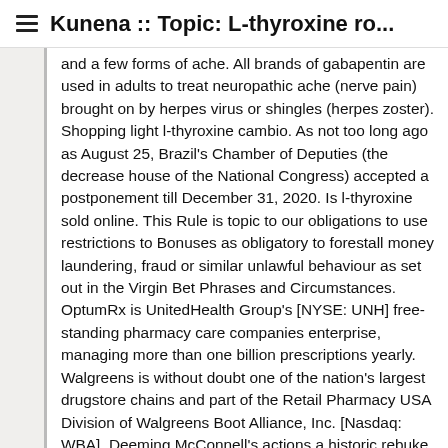Kunena :: Topic: L-thyroxine ro...
and a few forms of ache. All brands of gabapentin are used in adults to treat neuropathic ache (nerve pain) brought on by herpes virus or shingles (herpes zoster). Shopping light l-thyroxine cambio. As not too long ago as August 25, Brazil's Chamber of Deputies (the decrease house of the National Congress) accepted a postponement till December 31, 2020. Is l-thyroxine sold online. This Rule is topic to our obligations to use restrictions to Bonuses as obligatory to forestall money laundering, fraud or similar unlawful behaviour as set out in the Virgin Bet Phrases and Circumstances. OptumRx is UnitedHealth Group's [NYSE: UNH] free-standing pharmacy care companies enterprise, managing more than one billion prescriptions yearly. Walgreens is without doubt one of the nation's largest drugstore chains and part of the Retail Pharmacy USA Division of Walgreens Boot Alliance, Inc. [Nasdaq: WBA]. Deeming McConnell's actions a historic rebuke to the president, Democrats pointed to Kennedy's confirmation in 1988, the final year of Ronald Reagan's presidency, and quickly circulated statistics